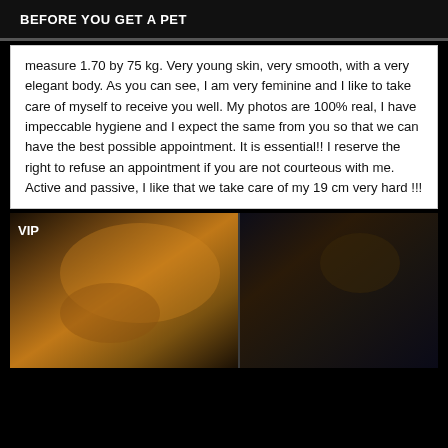BEFORE YOU GET A PET
measure 1.70 by 75 kg. Very young skin, very smooth, with a very elegant body. As you can see, I am very feminine and I like to take care of myself to receive you well. My photos are 100% real, I have impeccable hygiene and I expect the same from you so that we can have the best possible appointment. It is essential!! I reserve the right to refuse an appointment if you are not courteous with me. Active and passive, I like that we take care of my 19 cm very hard !!!
[Figure (photo): Dark interior photo with warm amber/golden lighting, split into two panels side by side. Left panel shows warm orange-brown tones, right panel shows darker blue-black tones. A 'VIP' label appears in the top-left corner.]